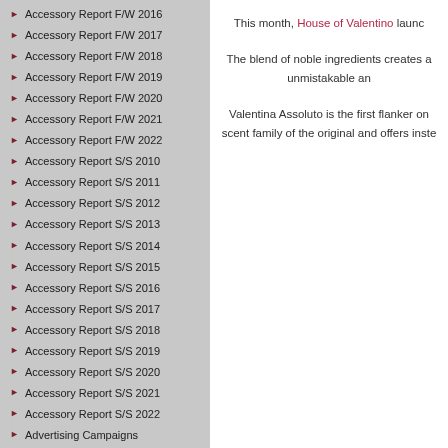Accessory Report F/W 2016
Accessory Report F/W 2017
Accessory Report F/W 2018
Accessory Report F/W 2019
Accessory Report F/W 2020
Accessory Report F/W 2021
Accessory Report F/W 2022
Accessory Report S/S 2010
Accessory Report S/S 2011
Accessory Report S/S 2012
Accessory Report S/S 2013
Accessory Report S/S 2014
Accessory Report S/S 2015
Accessory Report S/S 2016
Accessory Report S/S 2017
Accessory Report S/S 2018
Accessory Report S/S 2019
Accessory Report S/S 2020
Accessory Report S/S 2021
Accessory Report S/S 2022
Advertising Campaigns
Animals
Art
This month, House of Valentino launc...
The blend of noble ingredients creates a ... unmistakable an...
Valentina Assoluto is the first flanker on ... scent family of the original and offers inste...